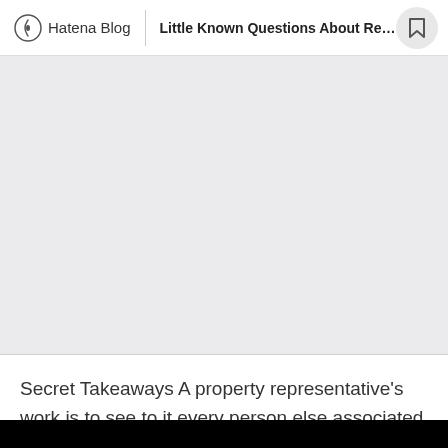Hatena Blog | Little Known Questions About Real...
[Figure (other): Grey placeholder image area]
Secret Takeaways A property representative's work is to see to it every person else associated with the deal is doing their job. Kenneth-Blakes have to consistently shift